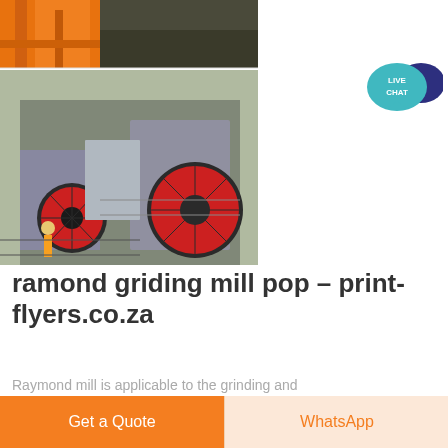[Figure (photo): Two stacked photos: top shows orange industrial machinery/conveyor equipment; bottom shows industrial grinding mill equipment with large red flywheel and a worker visible, set in a quarry or mining site.]
[Figure (illustration): Live Chat speech bubble icon with teal/blue-green background and white text 'LIVE CHAT', with a dark blue speech bubble overlay.]
ramond griding mill pop – print-flyers.co.za
Raymond mill is applicable to the grinding and processing of more than 280 kinds of non-
Get a Quote
WhatsApp